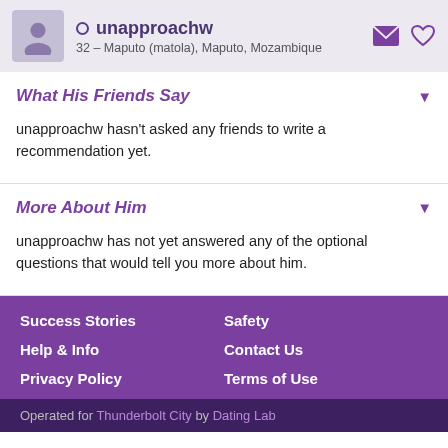unapproachw — 32 – Maputo (matola), Maputo, Mozambique
What His Friends Say
unapproachw hasn't asked any friends to write a recommendation yet.
More About Him
unapproachw has not yet answered any of the optional questions that would tell you more about him.
Success Stories | Safety | Help & Info | Contact Us | Privacy Policy | Terms of Use
Operated for Thunderbolt City by Dating Lab